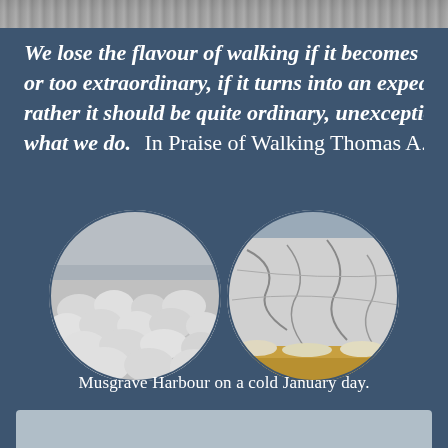[Figure (photo): Top edge of a photograph showing a winter landscape scene]
We lose the flavour of walking if it becomes too rare or too extraordinary, if it turns into an expedition; rather it should be quite ordinary, unexceptional, just what we do.  In Praise  of Walking Thomas A. Clark
[Figure (photo): Two circular cropped photographs side by side showing Musgrave Harbour on a cold January day. Left circle shows snow-covered round rocks along a shoreline with overcast sky. Right circle shows cracked ice or frozen surface with yellow/sandy shore at bottom.]
Musgrave Harbour on a cold January day.
[Figure (photo): Bottom strip of a light gray photograph partially visible at the bottom of the page]